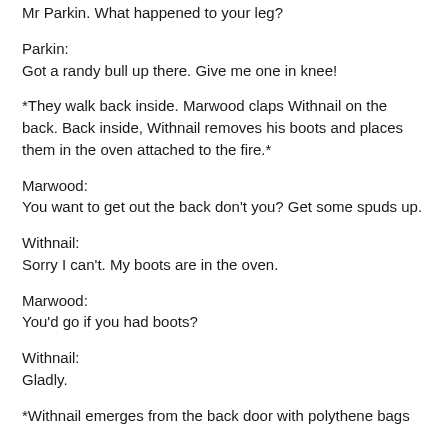Mr Parkin. What happened to your leg?
Parkin:
Got a randy bull up there. Give me one in knee!
*They walk back inside. Marwood claps Withnail on the back. Back inside, Withnail removes his boots and places them in the oven attached to the fire.*
Marwood:
You want to get out the back don't you? Get some spuds up.
Withnail:
Sorry I can't. My boots are in the oven.
Marwood:
You'd go if you had boots?
Withnail:
Gladly.
*Withnail emerges from the back door with polythene bags